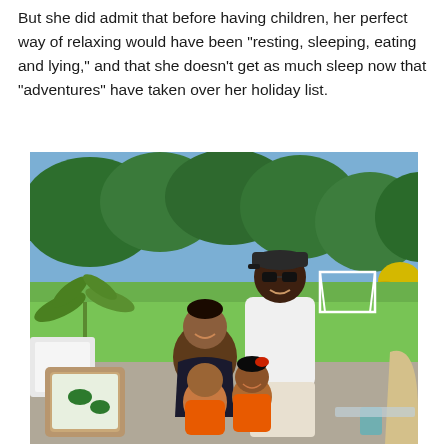But she did admit that before having children, her perfect way of relaxing would have been "resting, sleeping, eating and lying," and that she doesn't get as much sleep now that "adventures" have taken over her holiday list.
[Figure (photo): A family photo showing a woman and a tall man in a white t-shirt and dark cap with sunglasses, posing outdoors in a sunny garden with green trees. The woman holds two young children dressed in orange outfits. They are seated on wicker furniture with tropical-print cushions.]